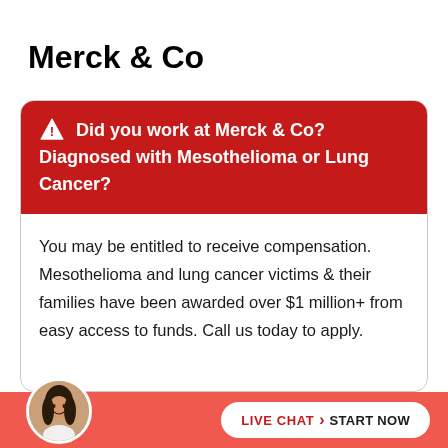Merck & Co
⚠ Did you work at Merck & Co? Diagnosed with Mesothelioma or Lung Cancer?
You may be entitled to receive compensation. Mesothelioma and lung cancer victims & their families have been awarded over $1 million+ from easy access to funds. Call us today to apply.
LIVE CHAT › START NOW